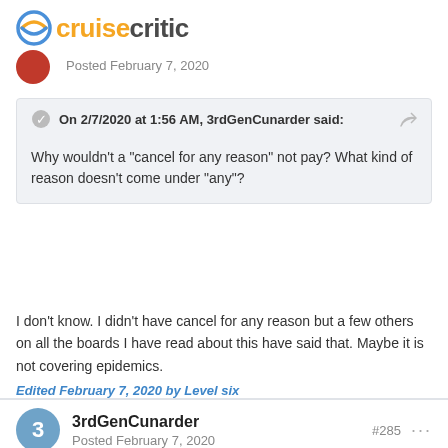cruisecritic
Posted February 7, 2020
On 2/7/2020 at 1:56 AM, 3rdGenCunarder said:

Why wouldn't a "cancel for any reason" not pay? What kind of reason doesn't come under "any"?
I don't know.  I didn't have cancel for any reason but a few others on all the boards I have read about this have said that.  Maybe it is not covering epidemics.
Edited February 7, 2020 by Level six
3rdGenCunarder
Posted February 7, 2020
#285